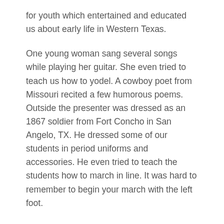for youth which entertained and educated us about early life in Western Texas.
One young woman sang several songs while playing her guitar. She even tried to teach us how to yodel. A cowboy poet from Missouri recited a few humorous poems. Outside the presenter was dressed as an 1867 soldier from Fort Concho in San Angelo, TX. He dressed some of our students in period uniforms and accessories. He even tried to teach the students how to march in line. It was hard to remember to begin your march with the left foot.
The students liked learning how a cowboy uses a horse on a ranch. The presenter works at the 6666 Ranch. He demonstrated how quarter horses are trained at the ranch. We loved watching the horse go through his paces.
Our final session was at the Native American tepee.